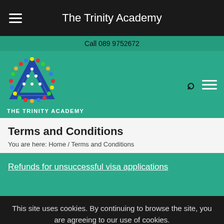The Trinity Academy
Call 089 9752672
[Figure (logo): The Trinity Academy logo — triangular geometric design with multicolor beads/dots border]
THE TRINITY ACADEMY
Terms and Conditions
You are here:  Home  /  Terms and Conditions
Refunds for unsuccessful visa applications
This site uses cookies. By continuing to browse the site, you are agreeing to our use of cookies.
the full amount administration charges or bank fees.
Repayments take an average of 10 working days to